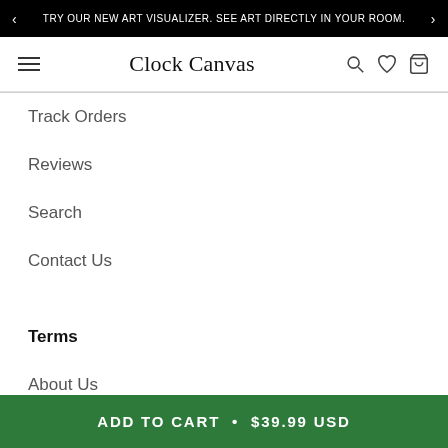TRY OUR NEW ART VISUALIZER. SEE ART DIRECTLY IN YOUR ROOM.
Clock Canvas
Track Orders
Reviews
Search
Contact Us
Terms
About Us
Sell Your Art
ADD TO CART  •  $39.99 USD